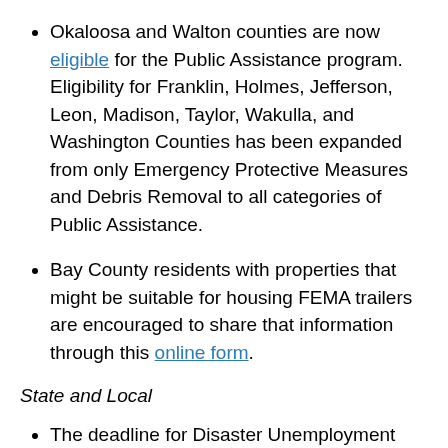Okaloosa and Walton counties are now eligible for the Public Assistance program. Eligibility for Franklin, Holmes, Jefferson, Leon, Madison, Taylor, Wakulla, and Washington Counties has been expanded from only Emergency Protective Measures and Debris Removal to all categories of Public Assistance.
Bay County residents with properties that might be suitable for housing FEMA trailers are encouraged to share that information through this online form.
State and Local
The deadline for Disaster Unemployment